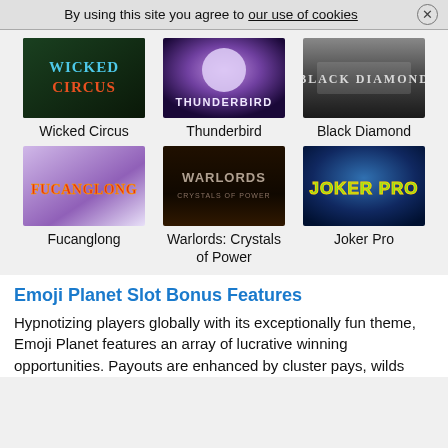By using this site you agree to our use of cookies ✕
[Figure (illustration): Wicked Circus game thumbnail - dark green themed slot game logo]
Wicked Circus
[Figure (illustration): Thunderbird game thumbnail - purple/magenta mystic themed logo]
Thunderbird
[Figure (illustration): Black Diamond game thumbnail - dark grey elegant themed logo]
Black Diamond
[Figure (illustration): Fucanglong game thumbnail - purple sky themed dragon slot logo]
Fucanglong
[Figure (illustration): Warlords: Crystals of Power game thumbnail - dark fiery themed logo]
Warlords: Crystals of Power
[Figure (illustration): Joker Pro game thumbnail - blue neon themed logo]
Joker Pro
Emoji Planet Slot Bonus Features
Hypnotizing players globally with its exceptionally fun theme, Emoji Planet features an array of lucrative winning opportunities. Payouts are enhanced by cluster pays, wilds